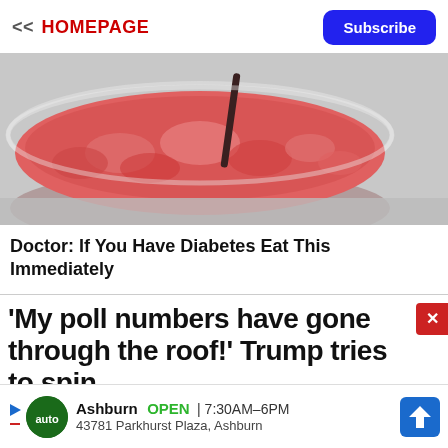<< HOMEPAGE | Subscribe
[Figure (photo): A glass bowl filled with pink/red powder, with a dark utensil stirring it, on a gray surface.]
Doctor: If You Have Diabetes Eat This Immediately
'My poll numbers have gone through the roof!' Trump tries to spin
Ashburn OPEN 7:30AM–6PM 43781 Parkhurst Plaza, Ashburn